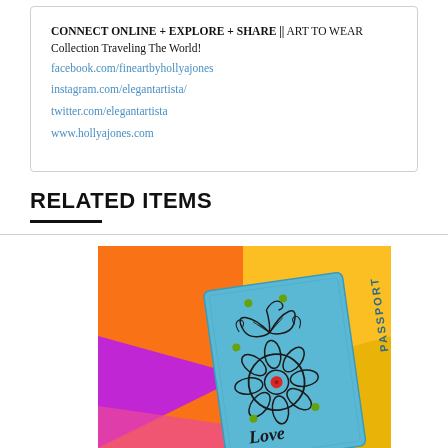CONNECT ONLINE + EXPLORE + SHARE || ART TO WEAR Collection Traveling The World!
facebook.com/fineartbyhollyajones
instagram.com/elegantartista/
twitter.com/elegantartista
www.hollyajones.com
RELATED ITEMS
[Figure (photo): A blue leather passport cover with hand-painted floral and butterfly art design, text 'PASSPORT' and 'Love', displayed on a colorful orange, yellow, and purple background.]